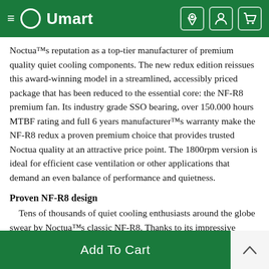Umart
Noctua™s reputation as a top-tier manufacturer of premium quality quiet cooling components. The new redux edition reissues this award-winning model in a streamlined, accessibly priced package that has been reduced to the essential core: the NF-R8 premium fan. Its industry grade SSO bearing, over 150.000 hours MTBF rating and full 6 years manufacturer™s warranty make the NF-R8 redux a proven premium choice that provides trusted Noctua quality at an attractive price point. The 1800rpm version is ideal for efficient case ventilation or other applications that demand an even balance of performance and quietness.
Proven NF-R8 design
Tens of thousands of quiet cooling enthusiasts around the globe swear by Noctua™s classic NF-R8. Thanks to its impressive quietness, excellent performance and impeccable quality, it has become a particularly popular choice for d...